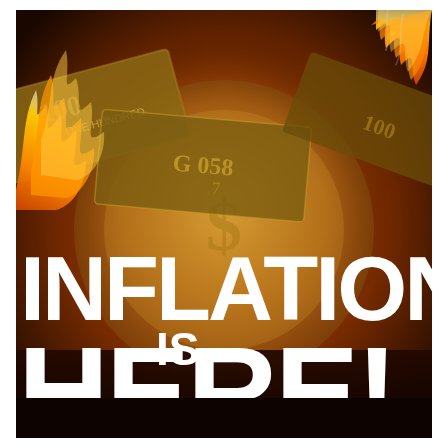[Figure (illustration): Book cover image showing burning US dollar bills with orange and red flames against a dark background, with large bold white text reading 'INFLATION IS HERE!' overlaid on the image.]